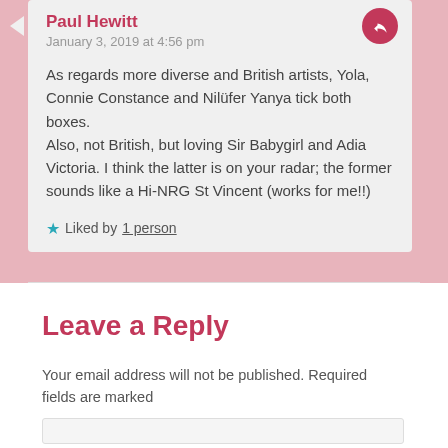Paul Hewitt
January 3, 2019 at 4:56 pm
As regards more diverse and British artists, Yola, Connie Constance and Nilüfer Yanya tick both boxes.
Also, not British, but loving Sir Babygirl and Adia Victoria. I think the latter is on your radar; the former sounds like a Hi-NRG St Vincent (works for me!!)
★ Liked by 1 person
Leave a Reply
Your email address will not be published. Required fields are marked